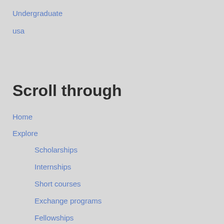Undergraduate
usa
Scroll through
Home
Explore
Scholarships
Internships
Short courses
Exchange programs
Fellowships
Documentation